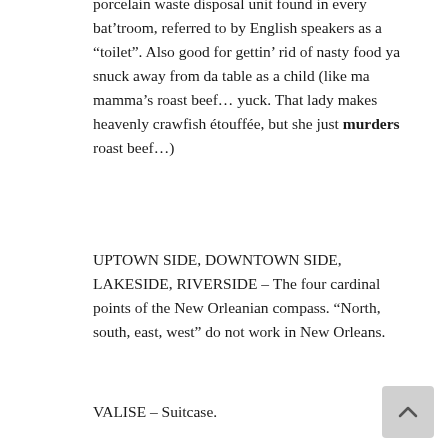porcelain waste disposal unit found in every bat'troom, referred to by English speakers as a “toilet”. Also good for gettin’ rid of nasty food ya snuck away from da table as a child (like ma mamma’s roast beef ... yuck. That lady makes heavenly crawfish étouffée, but she just murders roast beef ...)
UPTOWN SIDE, DOWNTOWN SIDE, LAKESIDE, RIVERSIDE – The four cardinal points of the New Orleanian compass. “North, south, east, west” do not work in New Orleans.
VALISE – Suitcase.